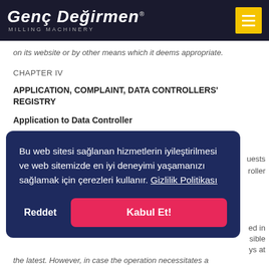Genç Değirmen MILLING MACHINERY
on its website or by other means which it deems appropriate.
CHAPTER IV
APPLICATION, COMPLAINT, DATA CONTROLLERS' REGISTRY
Application to Data Controller
[Figure (screenshot): Cookie consent popup overlay with dark navy background. Text in Turkish: 'Bu web sitesi sağlanan hizmetlerin iyileştirilmesi ve web sitemizde en iyi deneyimi yaşamanızı sağlamak için çerezleri kullanır. Gizlilik Politikası'. Buttons: 'Reddet' (reject) and 'Kabul Et!' (accept, pink/red).]
the latest. However, in case the operation necessitates a